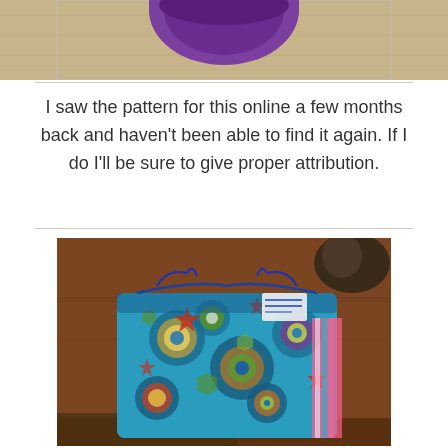[Figure (photo): Cropped top portion of a photo showing a purple fabric item on a wooden floor background]
I saw the pattern for this online a few months back and haven't been able to find it again. If I do I'll be sure to give proper attribution.
[Figure (photo): A colorful patterned drawstring fabric bag with blue, teal, red, green, and purple geometric/star/circle patterns, resting on a brown leather surface with a cat visible in the upper right corner]